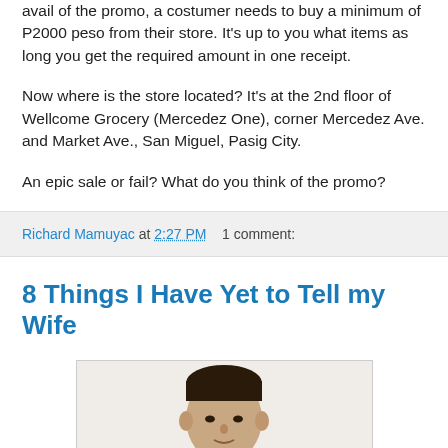avail of the promo, a costumer needs to buy a minimum of P2000 peso from their store. It's up to you what items as long you get the required amount in one receipt.
Now where is the store located? It's at the 2nd floor of Wellcome Grocery (Mercedez One), corner Mercedez Ave. and Market Ave., San Miguel, Pasig City.
An epic sale or fail? What do you think of the promo?
Richard Mamuyac at 2:27 PM   1 comment:
8 Things I Have Yet to Tell my Wife
[Figure (photo): Photo of a man, showing head and upper torso, with dark hair, on a light background with a thin border]